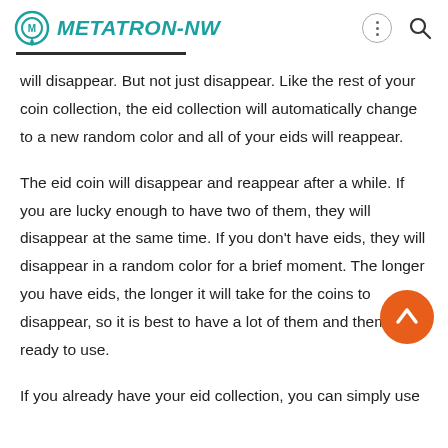METATRON-NW
will disappear. But not just disappear. Like the rest of your coin collection, the eid collection will automatically change to a new random color and all of your eids will reappear.
The eid coin will disappear and reappear after a while. If you are lucky enough to have two of them, they will disappear at the same time. If you don't have eids, they will disappear in a random color for a brief moment. The longer you have eids, the longer it will take for the coins to disappear, so it is best to have a lot of them and them ready to use.
If you already have your eid collection, you can simply use